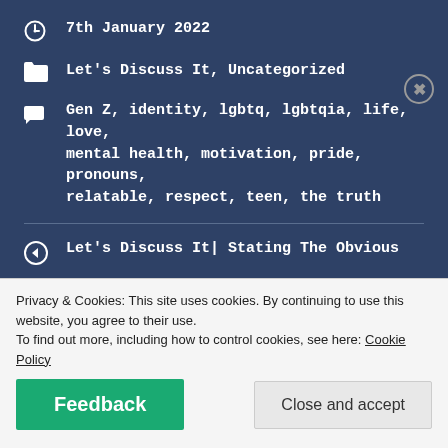7th January 2022
Let's Discuss It, Uncategorized
Gen Z, identity, lgbtq, lgbtqia, life, love, mental health, motivation, pride, pronouns, relatable, respect, teen, the truth
Let's Discuss It| Stating The Obvious
I Don't Get The Guinness Book Of World Records
2 thoughts on “Let’s Discuss It |
Privacy & Cookies: This site uses cookies. By continuing to use this website, you agree to their use.
To find out more, including how to control cookies, see here: Cookie Policy
Feedback
Close and accept